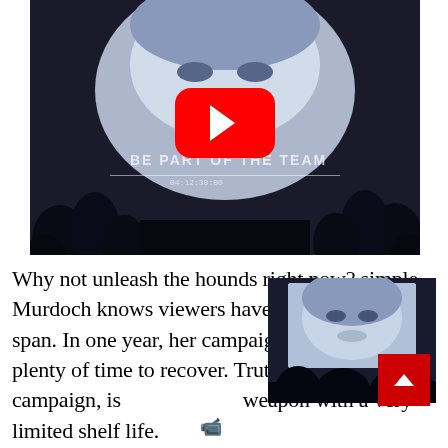[Figure (screenshot): YouTube video thumbnail showing a large projected face (appears to be Hillary Clinton) with a YouTube play button overlay. Text on screen reads 'BE PART OF THE TEAM'. Audience silhouettes visible in foreground.]
[Figure (screenshot): Smaller thumbnail image showing a face projected on a screen with audience silhouettes in foreground.]
Why not unleash the hounds right now? simple. Murdoch knows viewers have a short attention span. In one year, her campaign would have had plenty of time to recover. Truth, in a political campaign, is a weapon with a very limited shelf life.